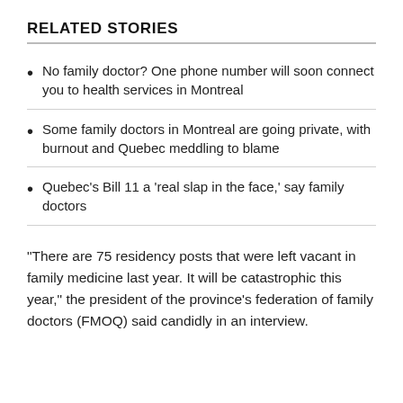RELATED STORIES
No family doctor? One phone number will soon connect you to health services in Montreal
Some family doctors in Montreal are going private, with burnout and Quebec meddling to blame
Quebec's Bill 11 a 'real slap in the face,' say family doctors
"There are 75 residency posts that were left vacant in family medicine last year. It will be catastrophic this year," the president of the province's federation of family doctors (FMOQ) said candidly in an interview.